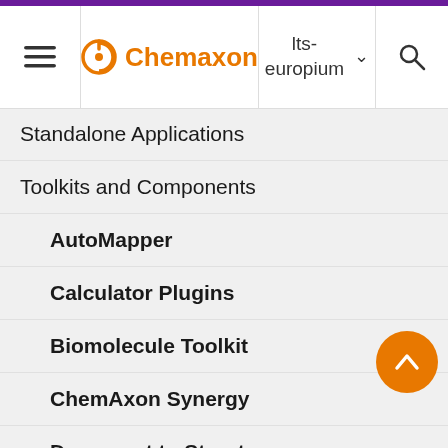Chemaxon — lts-europium
Standalone Applications
Toolkits and Components
AutoMapper
Calculator Plugins
Biomolecule Toolkit
ChemAxon Synergy
Document to Structure
JChem Base
JChem Base Administration
from JChem 5.3. Those single or 'single or double bonds that are connected to